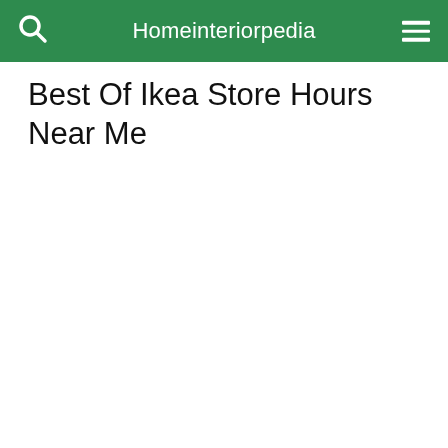Homeinteriorpedia
Best Of Ikea Store Hours Near Me